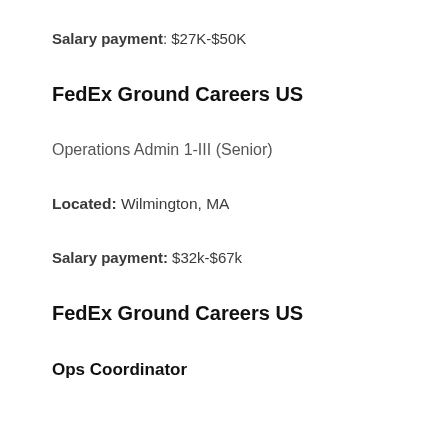Salary payment: $27K-$50K
FedEx Ground Careers US
Operations Admin 1-III (Senior)
Located: Wilmington, MA
Salary payment: $32k-$67k
FedEx Ground Careers US
Ops Coordinator